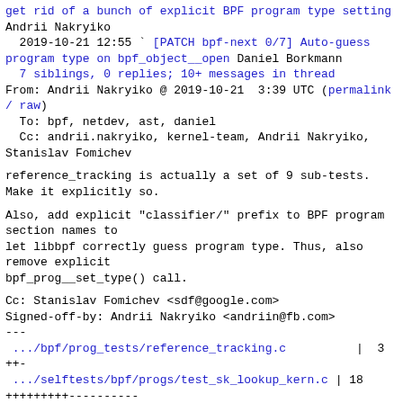get rid of a bunch of explicit BPF program type setting
Andrii Nakryiko
  2019-10-21 12:55 ` [PATCH bpf-next 0/7] Auto-guess program type on bpf_object__open Daniel Borkmann
  7 siblings, 0 replies; 10+ messages in thread
From: Andrii Nakryiko @ 2019-10-21  3:39 UTC (permalink / raw)
  To: bpf, netdev, ast, daniel
  Cc: andrii.nakryiko, kernel-team, Andrii Nakryiko, Stanislav Fomichev
reference_tracking is actually a set of 9 sub-tests.
Make it explicitly so.
Also, add explicit "classifier/" prefix to BPF program section names to
let libbpf correctly guess program type. Thus, also remove explicit
bpf_prog__set_type() call.
Cc: Stanislav Fomichev <sdf@google.com>
Signed-off-by: Andrii Nakryiko <andriin@fb.com>
---
 .../bpf/prog_tests/reference_tracking.c          |  3 ++-
 .../selftests/bpf/progs/test_sk_lookup_kern.c | 18 +++++++++----------
 2 files changed, 11 insertions(+), 10 deletions(-)
diff --git